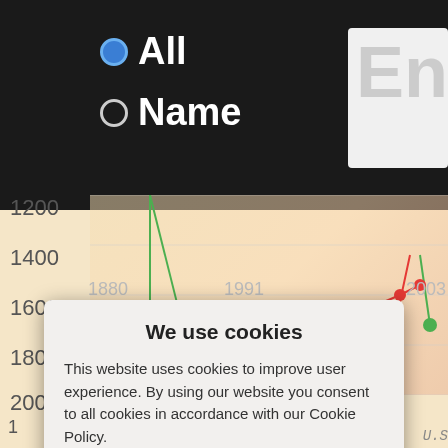[Figure (screenshot): Website screenshot showing search filter options with radio buttons for 'All' and 'Name', a partial text input box showing 'Ent', a line chart showing popularity rank data over years with green and red plotted lines and dots, y-axis labels 1200-2000, x-axis years 1880-2003, and a cookie consent modal dialog overlaying the chart]
We use cookies
This website uses cookies to improve user experience. By using our website you consent to all cookies in accordance with our Cookie Policy.
Yes I agree
I disagree
Read more
Free cookie consent by cookie-script.com